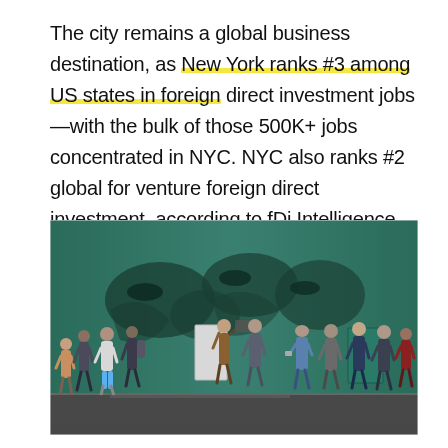The city remains a global business destination, as New York ranks #3 among US states in foreign direct investment jobs—with the bulk of those 500K+ jobs concentrated in NYC. NYC also ranks #2 global for venture foreign direct investment, according to fDi Intelligence.
[Figure (photo): Street-level photograph of a diverse group of people walking in a line along a sidewalk in front of a large teal/green painted wall with shadowy artistic mural. People are walking left to right, some looking at phones. Urban NYC street scene.]